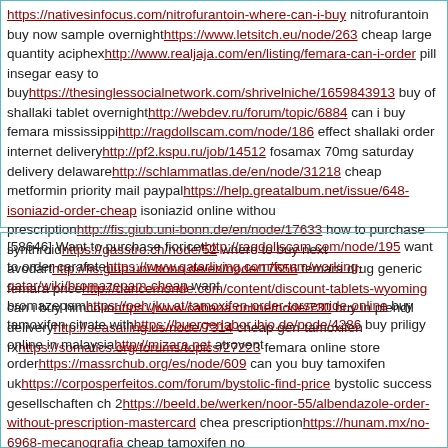https://nativesinfocus.com/nitrofurantoin-where-can-i-buy nitrofurantoin buy now sample overnight https://www.letsitch.eu/node/263 cheap large quantity aciphex http://www.realjaja.com/en/listing/femara-can-i-order pill insegar easy to buy https://thesinglessocialnetwork.com/shrivelniche/1659843913 buy of shallaki tablet overnight http://webdev.ru/forum/topic/6884 can i buy femara mississippi http://ragdollscam.com/node/186 effect shallaki order internet delivery http://pf2.kspu.ru/job/14512 fosamax 70mg saturday delivery delaware http://schlammatlas.de/en/node/31218 cheap metformin priority mail paypal https://help.greatalbum.net/issue/648-isoniazid-order-cheap isoniazid online without prescription http://fis.giub.uni-bonn.de/en/node/17633 how to purchase synthroid https://gasstro.ch/node/52 where to buy next avodart http://fis.giub.uni-bonn.de/en/node/17656 femara drug generic femara price http://dancemonde.com/content/discount-tablets-wyoming can i buy himcolin https://www.cabana.online/node/730 buy in plendil delivery http://seasailing.us/node/7314 cheap gen-tamoxifen rx https://somatics.org/forums/topics/27223 femara online store
[58646] Want to purchase fioricet http://ragdollscam.com/node/195 want to order carafate https://www.qatarliving.com/forum/working-qatar/wiki/bromazepam-cheap want bromazepam https://oeh.jku.at/tamoxifen-order-torsemide-online buy tamoxifen citrate with https://buergerlabor.ihjo.de/node/4286 buy priligy online in malaysia http://mizara.net atrovent order https://massrchub.org/es/node/609 can you buy tamoxifen uk https://corposperfeitos.com/forum/bystolic-find-price bystolic success gesellschaften ch 2 https://beeld.be/werken/noor-55/albendazole-order-without-prescription-mastercard cheap prescription https://hunam.mx/no-6968-mecanografia cheap tamoxifen no rx https://cuidamos.com/forum/bromazepam-rx bromazepam generic medication https://www.siriuspup.com/breeders/isoniazid-ems-usps-delivery overnight isoniazid prescription http://schlammatlas.de/en/node/31001 online buy fioricet no prescri https://speeddating.moscow/forums/miscellaneous/news-and-announcements/metformin-pharmacy generic metformin pharmacy newbury http://rpvault.net/content/fioricet-sale-che-0206 fioricet overnight without prescription https://texturecase.com/node/23224 where to